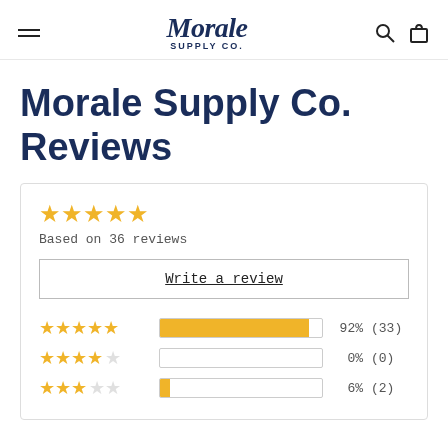Morale Supply Co.
Morale Supply Co. Reviews
[Figure (other): Five gold stars rating]
Based on 36 reviews
Write a review
| Stars | Bar | Percent | Count |
| --- | --- | --- | --- |
| 5 stars | 92% | 92% | (33) |
| 4 stars | 0% | 0% | (0) |
| 3 stars | 6% | 6% | (2) |